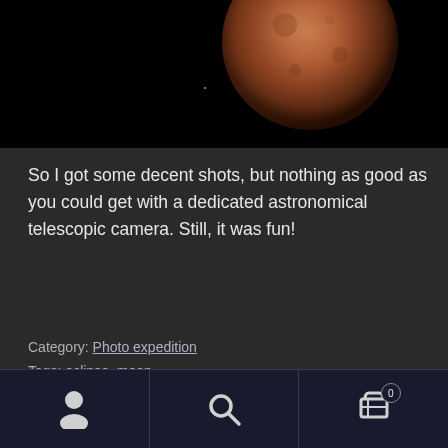[Figure (photo): Photograph of a blood moon (lunar eclipse) against a black night sky background. The moon appears reddish-brown and is positioned in the upper-center of the dark image.]
So I got some decent shots, but nothing as good as you could get with a dedicated astronomical telescopic camera. Still, it was fun!
Category: Photo expedition
Tags: eclipse, moon
[Figure (other): Bottom navigation bar with three icons: user/person icon, search/magnifying glass icon, and shopping cart icon with badge showing 0]